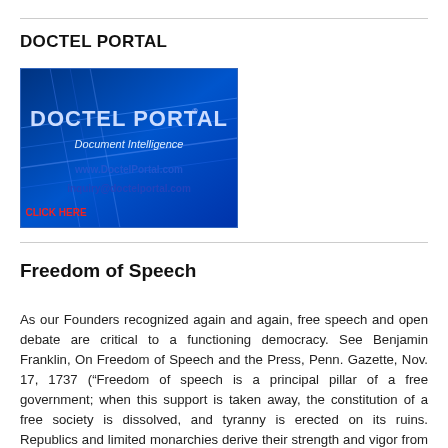DOCTEL PORTAL
[Figure (logo): Doctel Portal logo with blue background, showing brand name, 'Document Intelligence', website www.DoctelPortal.com, inquiry@doctelportal.com, and 'CLICK HERE' in red.]
Freedom of Speech
As our Founders recognized again and again, free speech and open debate are critical to a functioning democracy. See Benjamin Franklin, On Freedom of Speech and the Press, Penn. Gazette, Nov. 17, 1737 (“Freedom of speech is a principal pillar of a free government; when this support is taken away, the constitution of a free society is dissolved, and tyranny is erected on its ruins. Republics and limited monarchies derive their strength and vigor from a popular examination into the action of the magistrates.”); see also Letter from James Madison to W.T. Barry (Aug. 4, 1822); 4 Writings of James Madison 103 (Robieson ed. 1865) (“